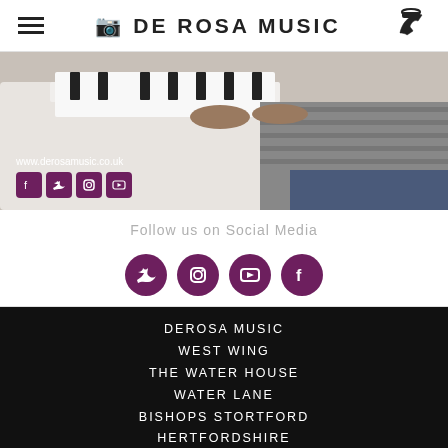DE ROSA MUSIC
[Figure (photo): Person playing a white digital piano, with social media icons and website URL www.derosamusic.co.uk overlaid on bottom left]
Follow us on Social Media
[Figure (infographic): Four purple circular social media icons: Twitter, Instagram, YouTube, Facebook]
DEROSA MUSIC
WEST WING
THE WATER HOUSE
WATER LANE
BISHOPS STORTFORD
HERTFORDSHIRE
CM23 2JZ